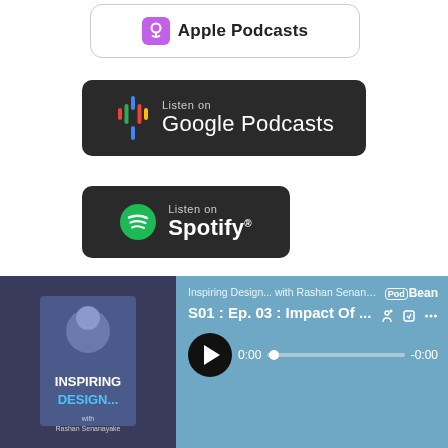[Figure (logo): Apple Podcasts button with purple podcast icon and text 'Apple Podcasts']
[Figure (logo): Google Podcasts button on dark background with colorful microphone bars icon and text 'Listen on Google Podcasts']
[Figure (logo): Spotify button on dark background with green Spotify logo and text 'Listen on Spotify']
RECENT PODCASTS
S04 : Ep. 14 : Science + Design
[Figure (screenshot): PodBean audio player overlay showing episode 'S01 : Ep. 03 : Impact Of ...' from 'Inspiring Design... with Rashan Senana...' with play button, progress bar at 0:00, and podcast cover art showing a man and text 'INSPIRING DESIGN...']